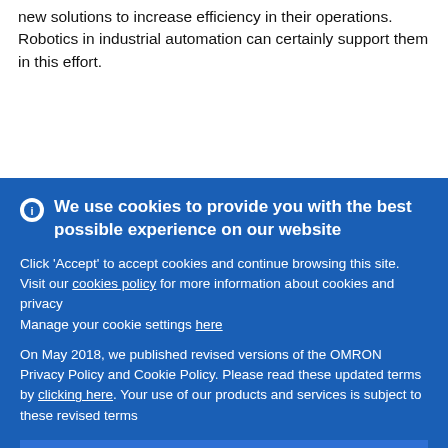new solutions to increase efficiency in their operations. Robotics in industrial automation can certainly support them in this effort.
We use cookies to provide you with the best possible experience on our website
Click 'Accept' to accept cookies and continue browsing this site. Visit our cookies policy for more information about cookies and privacy
Manage your cookie settings here
On May 2018, we published revised versions of the OMRON Privacy Policy and Cookie Policy. Please read these updated terms by clicking here. Your use of our products and services is subject to these revised terms
Accept